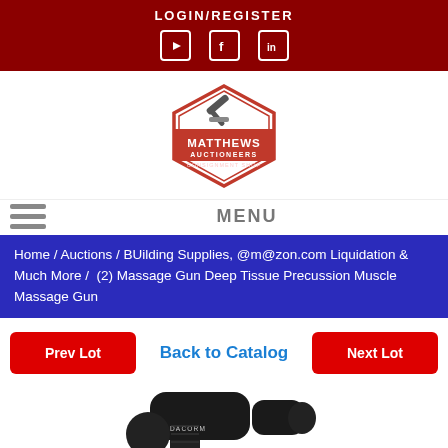LOGIN/REGISTER
[Figure (logo): Matthews Auctioneers Consignment Shop logo - hexagonal badge with gavel, red and white]
MENU
Home / Auctions / BUilding Supplies, @m@zon.com Liquidation & Much More /  (2) Massage Gun Deep Tissue Precussion Muscle Massage Gun
Prev Lot    Back to Catalog    Next Lot
[Figure (photo): Black DACORM massage gun deep tissue percussion muscle massager, shown from front angle on white background]